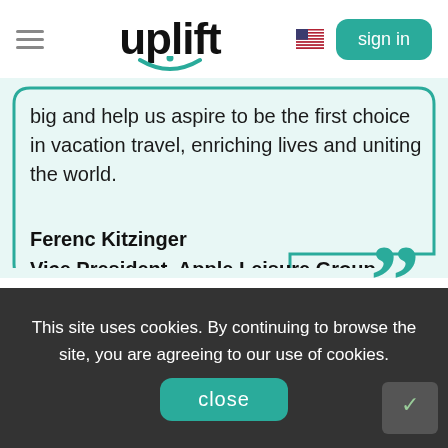[Figure (logo): Uplift logo with teal smile accent and hamburger menu, US flag icon, and teal sign in button]
big and help us aspire to be the first choice in vacation travel, enriching lives and uniting the world.
Ferenc Kitzinger
Vice President, Apple Leisure Group
This site uses cookies. By continuing to browse the site, you are agreeing to our use of cookies.